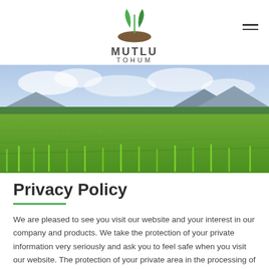[Figure (logo): Mutlu Tohum logo with two green leaves above a brown earth mound, with text MUTLU TOHUM below]
[Figure (photo): Wide landscape photo of lush green rice paddy fields with mountains in the background under a cloudy sky]
Privacy Policy
We are pleased to see you visit our website and your interest in our company and products. We take the protection of your private information very seriously and ask you to feel safe when you visit our website. The protection of your private area in the processing of your